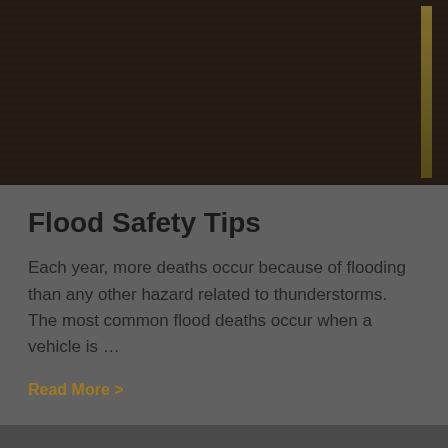[Figure (photo): Dark flood/water scene with wooden or horizontal striped background texture, dim lighting, with a vertical golden/olive element on the right side]
Flood Safety Tips
Each year, more deaths occur because of flooding than any other hazard related to thunderstorms. The most common flood deaths occur when a vehicle is …
Read More >